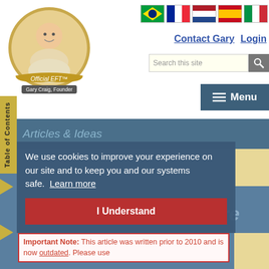[Figure (logo): Official EFT logo with Gary Craig founder photo in circular gold frame with ribbon banner]
[Figure (illustration): Five country flags: Brazil, France, Netherlands, Spain, Italy]
Contact Gary   Login
Search this site
Menu
Table of Contents
Articles & Ideas
We use cookies to improve your experience on our site and to keep you and our systems safe. Learn more
I Understand
Creating a happy future
Important Note: This article was written prior to 2010 and is now outdated. Please use